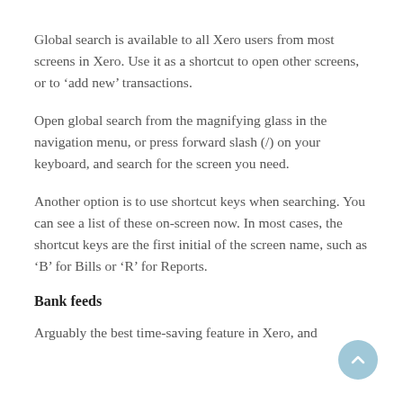Global search is available to all Xero users from most screens in Xero. Use it as a shortcut to open other screens, or to ‘add new’ transactions.
Open global search from the magnifying glass in the navigation menu, or press forward slash (/) on your keyboard, and search for the screen you need.
Another option is to use shortcut keys when searching. You can see a list of these on-screen now. In most cases, the shortcut keys are the first initial of the screen name, such as ‘B’ for Bills or ‘R’ for Reports.
Bank feeds
Arguably the best time-saving feature in Xero, and